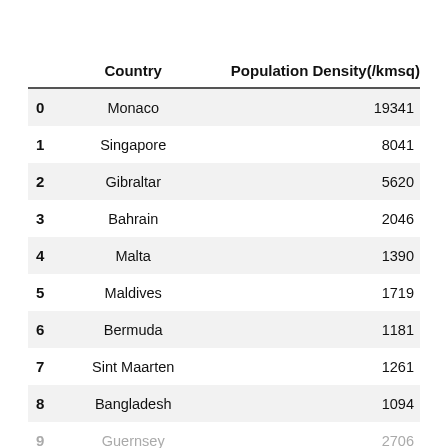|  | Country | Population Density(/kmsq) |
| --- | --- | --- |
| 0 | Monaco | 19341 |
| 1 | Singapore | 8041 |
| 2 | Gibraltar | 5620 |
| 3 | Bahrain | 2046 |
| 4 | Malta | 1390 |
| 5 | Maldives | 1719 |
| 6 | Bermuda | 1181 |
| 7 | Sint Maarten | 1261 |
| 8 | Bangladesh | 1094 |
| 9 | Guernsey | 2706 |
| 10 | Vatican City | 924.5 |